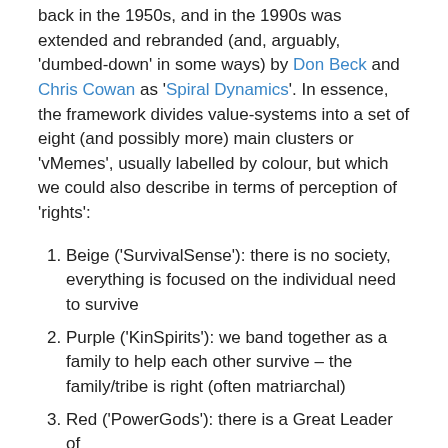back in the 1950s, and in the 1990s was extended and rebranded (and, arguably, 'dumbed-down' in some ways) by Don Beck and Chris Cowan as 'Spiral Dynamics'. In essence, the framework divides value-systems into a set of eight (and possibly more) main clusters or 'vMemes', usually labelled by colour, but which we could also describe in terms of perception of 'rights':
Beige ('SurvivalSense'): there is no society, everything is focused on the individual need to survive
Purple ('KinSpirits'): we band together as a family to help each other survive – the family/tribe is right (often matriarchal)
Red ('PowerGods'): there is a Great Leader of